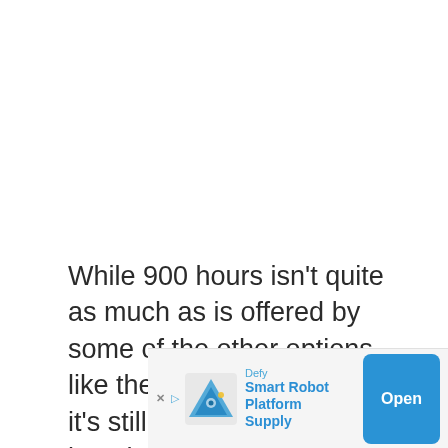While 900 hours isn't quite as much as is offered by some of the other options, like the Garmin HRM Duel, it's still a very impressive length of time and while the lightweight nature of the pod might make you worry about the manufacturing
[Figure (infographic): Advertisement banner for 'Defy Smart Robot Platform Supply' with a blue triangular robot logo, an 'Open' button, and close/skip icons.]